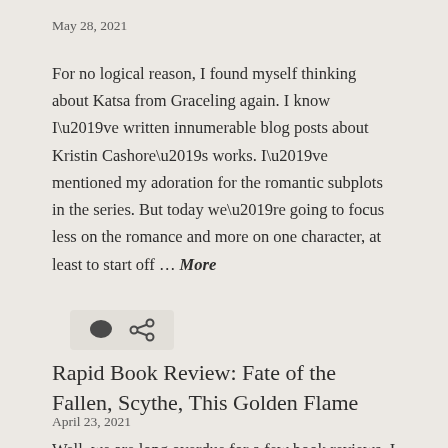May 28, 2021
For no logical reason, I found myself thinking about Katsa from Graceling again. I know I’ve written innumerable blog posts about Kristin Cashore’s works. I’ve mentioned my adoration for the romantic subplots in the series. But today we’re going to focus less on the romance and more on one character, at least to start off … More
[Figure (other): Comment bubble icon and share/link icon]
Rapid Book Review: Fate of the Fallen, Scythe, This Golden Flame
April 23, 2021
Well, we are long overdue for a few book reviews, I think.